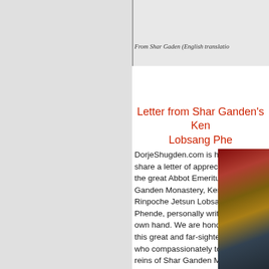From Shar Gaden (English translatio…
Letter from Shar Ganden's Ke… Lobsang Phe…
DorjeShugden.com is humbled to share a letter of appreciation from the great Abbot Emeritus of Shar Ganden Monastery, Kensur Rinpoche Jetsun Lobsang Phende, personally written in his own hand. We are honored that this great and far-sighted lama, who compassionately took up the reins of Shar Ganden Monastery during a most turbulent and dangerous period, has taken the time to write a few words in support of our
[Figure (photo): Photo of a Buddhist monk or lama in robes, appearing to be in a monastery setting]